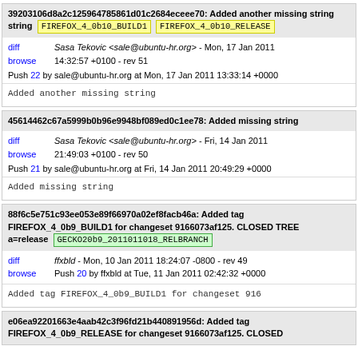39203106d8a2c125964785861d01c2684eceee70: Added another missing string FIREFOX_4_0b10_BUILD1 FIREFOX_4_0b10_RELEASE
diff browse  Sasa Tekovic <sale@ubuntu-hr.org> - Mon, 17 Jan 2011 14:32:57 +0100 - rev 51
Push 22 by sale@ubuntu-hr.org at Mon, 17 Jan 2011 13:33:14 +0000
Added another missing string
45614462c67a5999b0b96e9948bf089ed0c1ee78: Added missing string
diff browse  Sasa Tekovic <sale@ubuntu-hr.org> - Fri, 14 Jan 2011 21:49:03 +0100 - rev 50
Push 21 by sale@ubuntu-hr.org at Fri, 14 Jan 2011 20:49:29 +0000
Added missing string
88f6c5e751c93ee053e89f66970a02ef8facb46a: Added tag FIREFOX_4_0b9_BUILD1 for changeset 9166073af125. CLOSED TREE a=release GECKO20b9_2011011018_RELBRANCH
diff browse  ffxbld - Mon, 10 Jan 2011 18:24:07 -0800 - rev 49
Push 20 by ffxbld at Tue, 11 Jan 2011 02:42:32 +0000
Added tag FIREFOX_4_0b9_BUILD1 for changeset 916
e06ea92201663e4aab42c3f96fd21b440891956d: Added tag FIREFOX_4_0b9_RELEASE for changeset 9166073af125. CLOSED